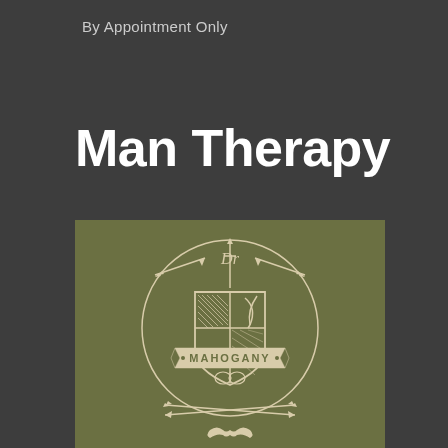By Appointment Only
Man Therapy
[Figure (logo): Mahogany Man Therapy crest logo on olive green background. Features a shield with crosshatching and a quill pen, arrows crossing behind the shield, a banner reading MAHOGANY, a brain symbol, crossed arrows below, and a mustache at the bottom. DR initials with a sword at the top. Circular border surrounds the design.]